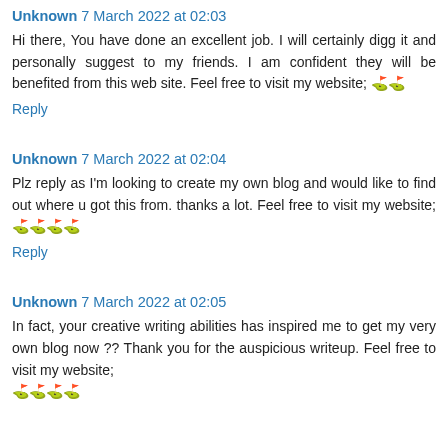Unknown 7 March 2022 at 02:03
Hi there, You have done an excellent job. I will certainly digg it and personally suggest to my friends. I am confident they will be benefited from this web site. Feel free to visit my website; 추천
Reply
Unknown 7 March 2022 at 02:04
Plz reply as I'm looking to create my own blog and would like to find out where u got this from. thanks a lot. Feel free to visit my website; 추천사이트
Reply
Unknown 7 March 2022 at 02:05
In fact, your creative writing abilities has inspired me to get my very own blog now ?? Thank you for the auspicious writeup. Feel free to visit my website; 추천사이트